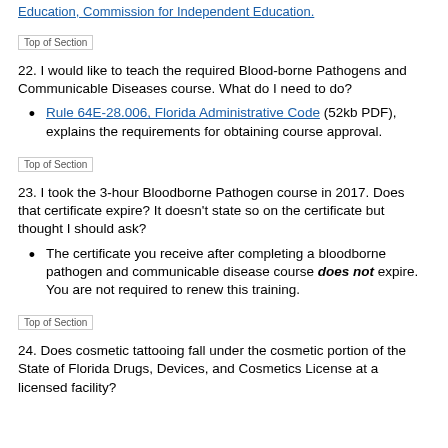Education, Commission for Independent Education.
Top of Section
22. I would like to teach the required Blood-borne Pathogens and Communicable Diseases course. What do I need to do?
Rule 64E-28.006, Florida Administrative Code (52kb PDF), explains the requirements for obtaining course approval.
Top of Section
23. I took the 3-hour Bloodborne Pathogen course in 2017. Does that certificate expire? It doesn’t state so on the certificate but thought I should ask?
The certificate you receive after completing a bloodborne pathogen and communicable disease course does not expire. You are not required to renew this training.
Top of Section
24. Does cosmetic tattooing fall under the cosmetic portion of the State of Florida Drugs, Devices, and Cosmetics License at a licensed facility?